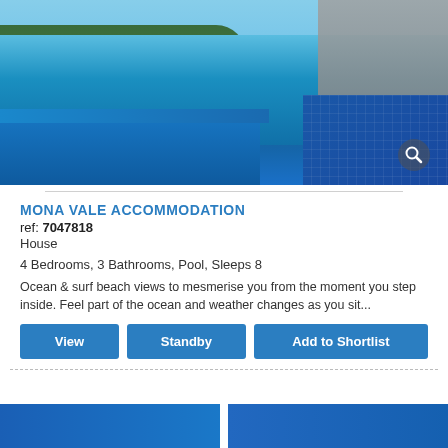[Figure (photo): Aerial/elevated view of a luxury property with an infinity pool overlooking a blue ocean bay, headland with trees, clear blue sky, and architectural concrete structure on the right side. Magnify icon in bottom right corner.]
MONA VALE ACCOMMODATION
ref: 7047818
House
4 Bedrooms, 3 Bathrooms, Pool, Sleeps 8
Ocean & surf beach views to mesmerise you from the moment you step inside. Feel part of the ocean and weather changes as you sit...
View | Standby | Add to Shortlist
[Figure (photo): Bottom partial view of another property listing, showing two image panels side by side with blue tones.]